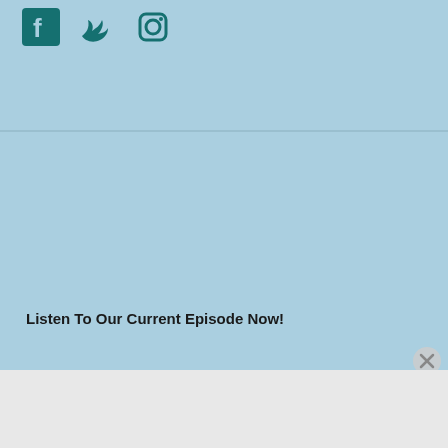[Figure (illustration): Social media icons for Facebook, Twitter, and Instagram in teal color on light blue background]
Listen To Our Current Episode Now!
[Figure (illustration): Close button (X circle) in gray]
Advertisements
[Figure (illustration): Advertisement banner: dark background with tree/person icon in white circle, teal text 'Launch your online course with WordPress', white 'Learn More' button]